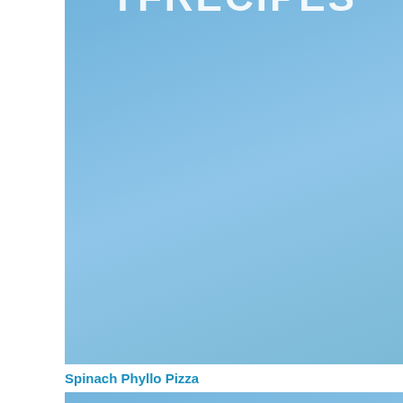[Figure (illustration): Blue gradient background image with partially visible white bold uppercase text 'TFRECIPES' at the top, cropped so only the bottom portion of letters is visible.]
Spinach Phyllo Pizza
[Figure (illustration): Blue gradient background image with white bold uppercase text 'TFRECIPES' visible at the bottom.]